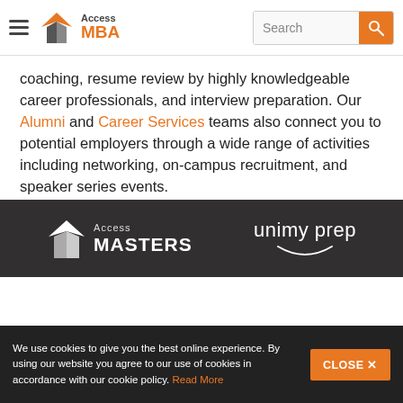Access MBA | Search
coaching, resume review by highly knowledgeable career professionals, and interview preparation. Our Alumni and Career Services teams also connect you to potential employers through a wide range of activities including networking, on-campus recruitment, and speaker series events.
[Figure (logo): Back to top arrow icon with text 'Back to top']
[Figure (logo): Access MASTERS logo in white on dark background]
[Figure (logo): unimy prep logo in white on dark background]
We use cookies to give you the best online experience. By using our website you agree to our use of cookies in accordance with our cookie policy. Read More